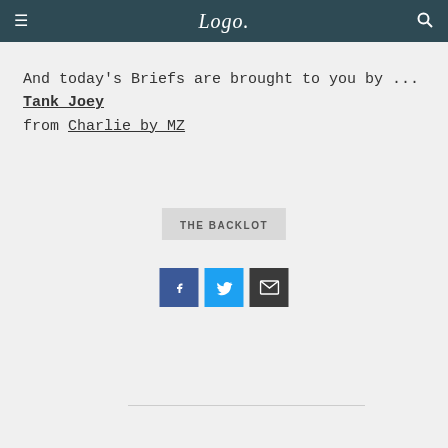Logo.
And today's Briefs are brought to you by ... Tank Joey from Charlie by MZ
[Figure (logo): THE BACKLOT button/badge in gray]
[Figure (infographic): Social share icons: Facebook (blue), Twitter (light blue), Email (dark gray)]